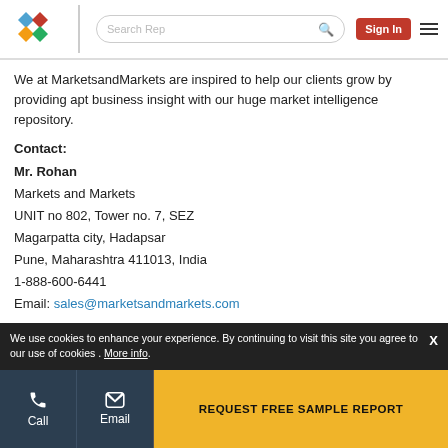MarketsandMarkets logo | Search Rep | Sign In | Menu
We at MarketsandMarkets are inspired to help our clients grow by providing apt business insight with our huge market intelligence repository.
Contact:
Mr. Rohan
Markets and Markets
UNIT no 802, Tower no. 7, SEZ
Magarpatta city, Hadapsar
Pune, Maharashtra 411013, India
1-888-600-6441
Email: sales@marketsandmarkets.com
We use cookies to enhance your experience. By continuing to visit this site you agree to our use of cookies . More info.
Call | Email | REQUEST FREE SAMPLE REPORT